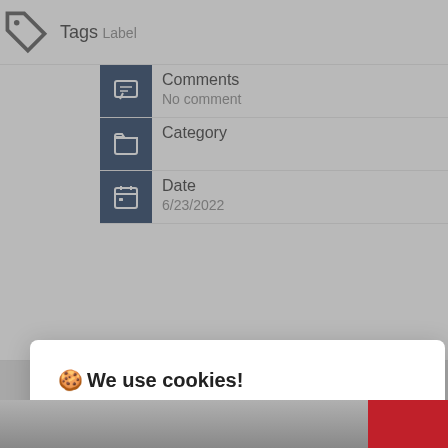Tags
Label
Comments
No comment
Category
Date
6/23/2022
🍪 We use cookies!
Hi, this website uses essential cookies to ensure its proper operation and tracking cookies to understand how you interact with it. The latter will be set only after consent. Let me choose
Accept all
Reject all